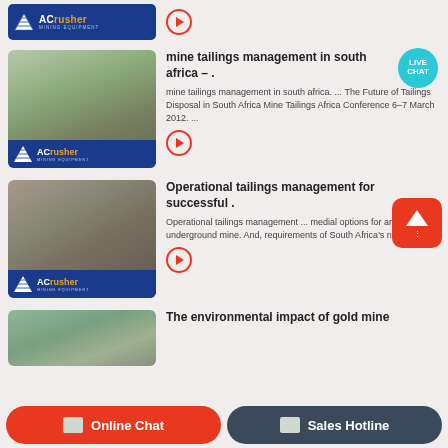[Figure (screenshot): ACrusher Mining Equipment logo badge on partial card at top]
[Figure (photo): Mine site with heavy equipment and ACrusher Mining Equipment logo overlay]
mine tailings management in south africa – .
mine tailings management in south africa. ... The Future of Tailings Disposal in South Africa Mine Tailings Africa Conference 6–7 March 2012. ...
[Figure (photo): Industrial mining equipment close-up with ACrusher Mining Equipment logo overlay]
Operational tailings management for successful .
Operational tailings management ... medial options for an underground mine. And, requirements of South Africa's new W
[Figure (photo): Mine site aerial view with green hills]
The environmental impact of gold mine
Online Chat | Sales Hotline